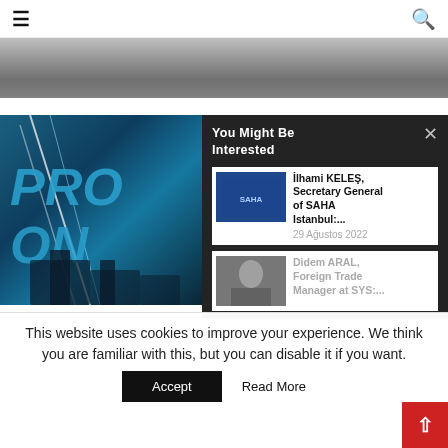≡  🔍
[Figure (photo): Grayscale hero image strip at the top of the page]
[Figure (photo): Main article image with blue laser/missile theme and text PRO ON in large letters]
You Might Be Interested
[Figure (photo): Thumbnail of İlhami KELEŞ with officials in background]
İlhami KELEŞ, Secretary General of SAHA Istanbul:...
29 Ağustos 2022
[Figure (photo): Thumbnail of Didem ARAL, woman in dark blazer]
Didem ARAL, Foreign Trade Manager at SYS:...
This website uses cookies to improve your experience. We think you are familiar with this, but you can disable it if you want.
Accept
Read More